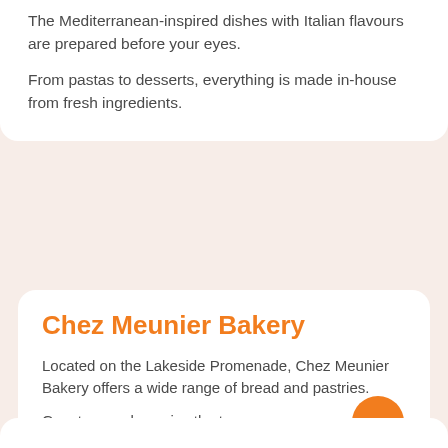The Mediterranean-inspired dishes with Italian flavours are prepared before your eyes.
From pastas to desserts, everything is made in-house from fresh ingredients.
Chez Meunier Bakery
Located on the Lakeside Promenade, Chez Meunier Bakery offers a wide range of bread and pastries.
Guests can also enjoy the tea room overlooking the lake.